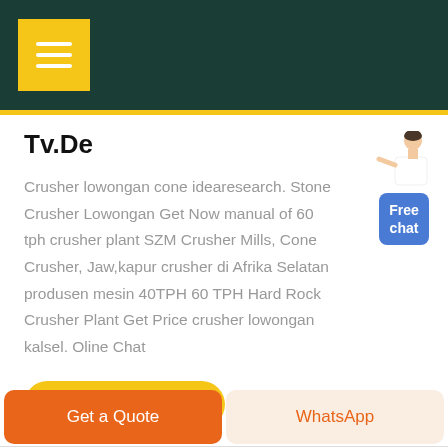Tv.De — site header with menu button
Tv.De
Crusher lowongan cone idearesearch. Stone Crusher Lowongan Get Now manual of 60 tph crusher plant SZM Crusher Mills, Cone Crusher, Jaw,kapur crusher di Afrika Selatan produsen mesin 40TPH 60 TPH Hard Rock Crusher Plant Get Price crusher lowongan kalsel. Oline Chat
[Figure (illustration): Free chat widget with a person illustration and blue box labeled 'Free chat']
GET PRICE
Get a Quote | WhatsApp